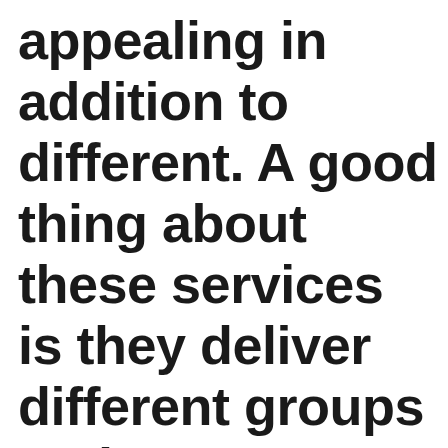appealing in addition to different. A good thing about these services is they deliver different groups and even subcategories for you to choose the